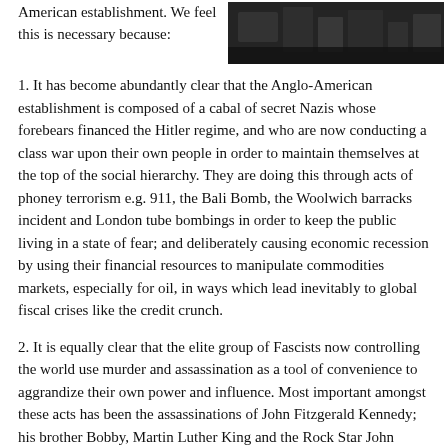American establishment. We feel this is necessary because:
[Figure (photo): Dark photograph, appears to show a nighttime city or crowd scene]
1. It has become abundantly clear that the Anglo-American establishment is composed of a cabal of secret Nazis whose forebears financed the Hitler regime, and who are now conducting a class war upon their own people in order to maintain themselves at the top of the social hierarchy. They are doing this through acts of phoney terrorism e.g. 911, the Bali Bomb, the Woolwich barracks incident and London tube bombings in order to keep the public living in a state of fear; and deliberately causing economic recession by using their financial resources to manipulate commodities markets, especially for oil, in ways which lead inevitably to global fiscal crises like the credit crunch.
2. It is equally clear that the elite group of Fascists now controlling the world use murder and assassination as a tool of convenience to aggrandize their own power and influence. Most important amongst these acts has been the assassinations of John Fitzgerald Kennedy; his brother Bobby, Martin Luther King and the Rock Star John Lennon. In more recent times the murders of Lady Diana Spencer, the Left-Wing politicians John Smith and Robin Cook and the Historian John Costello make it manifestly clear that the Right Wing are perfectly willing to eliminate absolutely anyone;